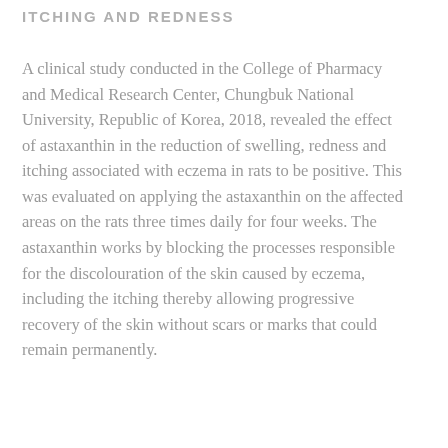ITCHING AND REDNESS
A clinical study conducted in the College of Pharmacy and Medical Research Center, Chungbuk National University, Republic of Korea, 2018, revealed the effect of astaxanthin in the reduction of swelling, redness and itching associated with eczema in rats to be positive. This was evaluated on applying the astaxanthin on the affected areas on the rats three times daily for four weeks. The astaxanthin works by blocking the processes responsible for the discolouration of the skin caused by eczema, including the itching thereby allowing progressive recovery of the skin without scars or marks that could remain permanently.